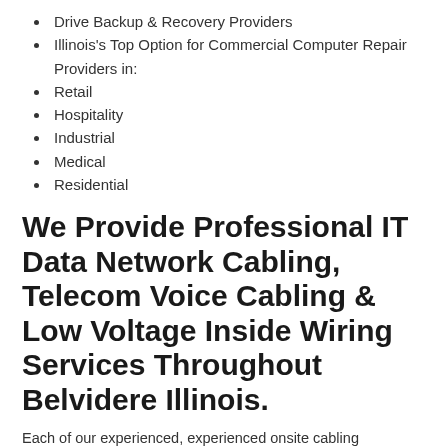Drive Backup & Recovery Providers
Illinois's Top Option for Commercial Computer Repair Providers in:
Retail
Hospitality
Industrial
Medical
Residential
We Provide Professional IT Data Network Cabling, Telecom Voice Cabling & Low Voltage Inside Wiring Services Throughout Belvidere Illinois.
Each of our experienced, experienced onsite cabling professionals in Belvidere are field tested network and telecom professionals with a vast selection of industry accreditations and